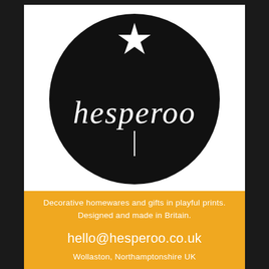[Figure (logo): Hesperoo logo: black circle with white star at top and white lowercase text 'hesperoo' below it, on white background]
Decorative homewares and gifts in playful prints. Designed and made in Britain.
hello@hesperoo.co.uk
Wollaston, Northamptonshire UK